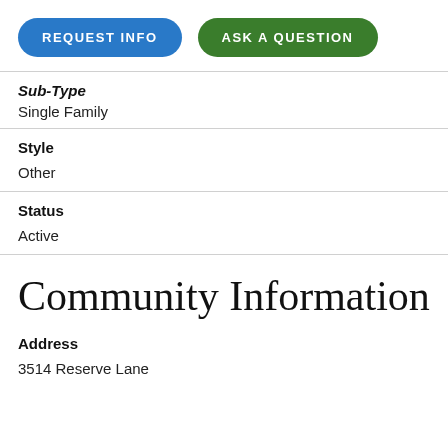[Figure (other): Two buttons: 'REQUEST INFO' (blue pill) and 'ASK A QUESTION' (green pill)]
Sub-Type
Single Family
Style
Other
Status
Active
Community Information
Address
3514 Reserve Lane